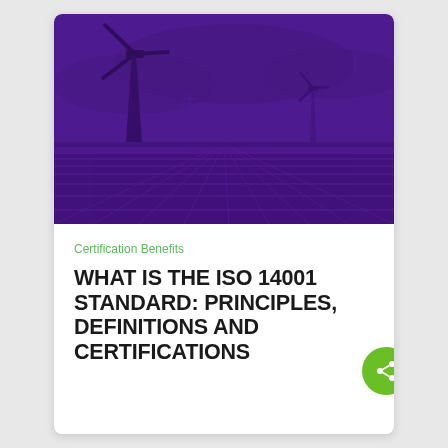[Figure (photo): Purple-tinted photo of wind turbines and solar panels in a field under a dramatic sky]
Certification Benefits
WHAT IS THE ISO 14001 STANDARD: PRINCIPLES, DEFINITIONS AND CERTIFICATIONS